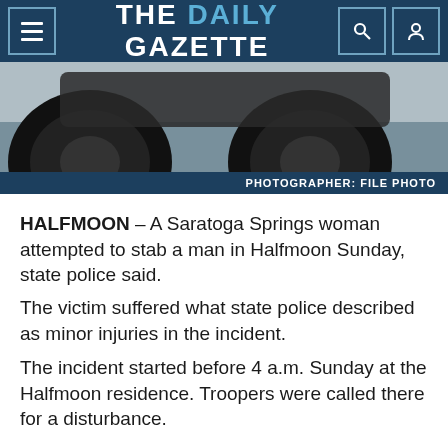THE DAILY GAZETTE
[Figure (photo): Close-up of a vehicle tire, file photo]
PHOTOGRAPHER: FILE PHOTO
HALFMOON – A Saratoga Springs woman attempted to stab a man in Halfmoon Sunday, state police said.
The victim suffered what state police described as minor injuries in the incident.
The incident started before 4 a.m. Sunday at the Halfmoon residence. Troopers were called there for a disturbance.
[Figure (logo): The Daily Gazette logo watermark on dark video thumbnail]